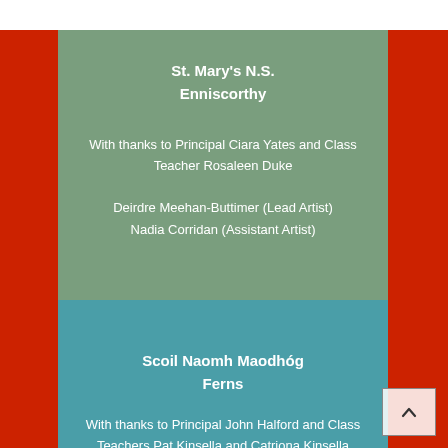St. Mary's N.S.
Enniscorthy
With thanks to Principal Ciara Yates and Class Teacher Rosaleen Duke
Deirdre Meehan-Buttimer (Lead Artist)
Nadia Corridan (Assistant Artist)
Scoil Naomh Maodhóg
Ferns
With thanks to Principal John Halford and Class Teachers Pat Kinsella and Catriona Kinsella
Mary Claire Kehoe (Lead Artist)